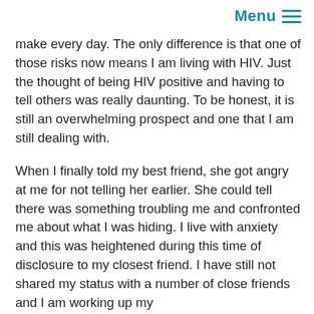Menu ≡
make every day. The only difference is that one of those risks now means I am living with HIV. Just the thought of being HIV positive and having to tell others was really daunting. To be honest, it is still an overwhelming prospect and one that I am still dealing with.
When I finally told my best friend, she got angry at me for not telling her earlier. She could tell there was something troubling me and confronted me about what I was hiding. I live with anxiety and this was heightened during this time of disclosure to my closest friend. I have still not shared my status with a number of close friends and I am working up my